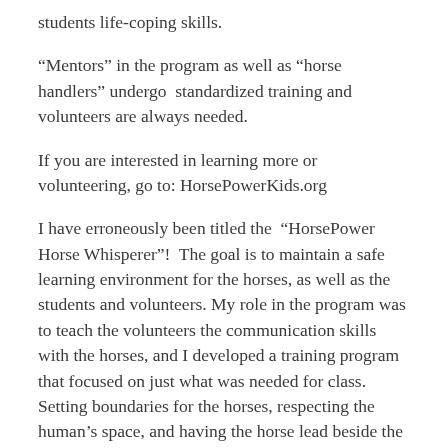students life-coping skills.
“Mentors” in the program as well as “horse handlers” undergo  standardized training and volunteers are always needed.
If you are interested in learning more or volunteering, go to: HorsePowerKids.org
I have erroneously been titled the  “HorsePower Horse Whisperer”!  The goal is to maintain a safe learning environment for the horses, as well as the students and volunteers. My role in the program was to teach the volunteers the communication skills with the horses, and I developed a training program that focused on just what was needed for class. Setting boundaries for the horses, respecting the human’s space, and having the horse lead beside the human at a walk-trot. The program corrected some of the horse’s bad behavior